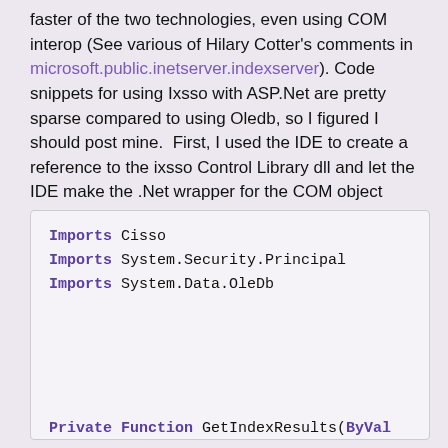faster of the two technologies, even using COM interop (See various of Hilary Cotter's comments in microsoft.public.inetserver.indexserver). Code snippets for using Ixsso with ASP.Net are pretty sparse compared to using Oledb, so I figured I should post mine.  First, I used the IDE to create a reference to the ixsso Control Library dll and let the IDE make the .Net wrapper for the COM object (christened Cisso by the IDE).
[Figure (screenshot): Code block showing VB.NET imports and start of a Private Function GetIndexResults(ByVal ... with Dim Q As New CissoQueryClass]